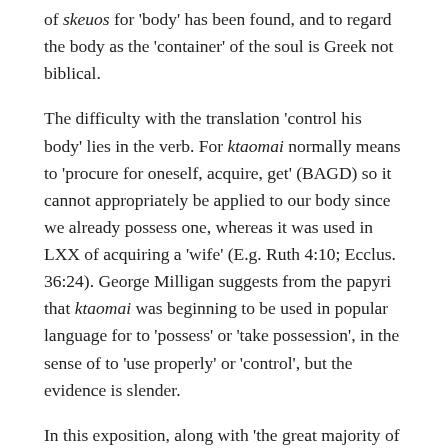of *skeuos* for 'body' has been found, and to regard the body as the 'container' of the soul is Greek not biblical.
The difficulty with the translation 'control his body' lies in the verb. For *ktaomai* normally means to 'procure for oneself, acquire, get' (BAGD) so it cannot appropriately be applied to our body since we already possess one, whereas it was used in LXX of acquiring a 'wife' (E.g. Ruth 4:10; Ecclus. 36:24). George Milligan suggests from the papyri that *ktaomai* was beginning to be used in popular language for to 'possess' or 'take possession', in the sense of to 'use properly' or 'control', but the evidence is slender.
In this exposition, along with 'the great majority of modern commentators', I am accepting that the reference is to acquiring a wife and that Paul is affirming heterosexual marriage as the only God-given context for sexual intercourse. There are three main arguments. The first concerns *language*. This interpretation preserves the normal meaning of *ktaomai* ('procure', 'acquire') and